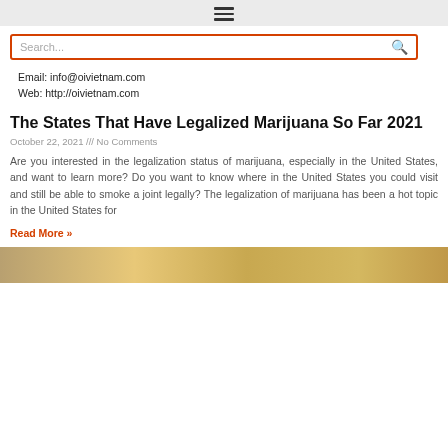≡ (hamburger menu icon)
Search...
Email: info@oivietnam.com
Web: http://oivietnam.com
The States That Have Legalized Marijuana So Far 2021
October 22, 2021 /// No Comments
Are you interested in the legalization status of marijuana, especially in the United States, and want to learn more? Do you want to know where in the United States you could visit and still be able to smoke a joint legally? The legalization of marijuana has been a hot topic in the United States for
Read More »
[Figure (photo): Bottom partial image of a person or scene, appears to be cut off at bottom of page]